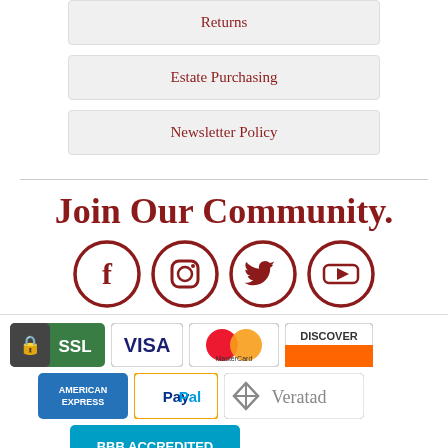Returns
Estate Purchasing
Newsletter Policy
Join Our Community.
[Figure (infographic): Social media icons: Facebook, Instagram, Twitter, YouTube — dark red circles]
[Figure (infographic): Payment and trust badges: SSL, Visa, MasterCard, Discover, American Express, PayPal, Veratad, BBB Accredited]